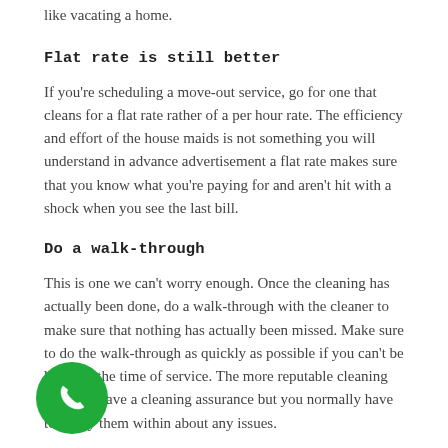like vacating a home.
Flat rate is still better
If you're scheduling a move-out service, go for one that cleans for a flat rate rather of a per hour rate. The efficiency and effort of the house maids is not something you will understand in advance advertisement a flat rate makes sure that you know what you're paying for and aren't hit with a shock when you see the last bill.
Do a walk-through
This is one we can't worry enough. Once the cleaning has actually been done, do a walk-through with the cleaner to make sure that nothing has actually been missed. Make sure to do the walk-through as quickly as possible if you can't be house at the time of service. The more reputable cleaning business have a cleaning assurance but you normally have to notify them within about any issues.
[Figure (other): Green circular phone/call button icon in the bottom-left corner of the page]